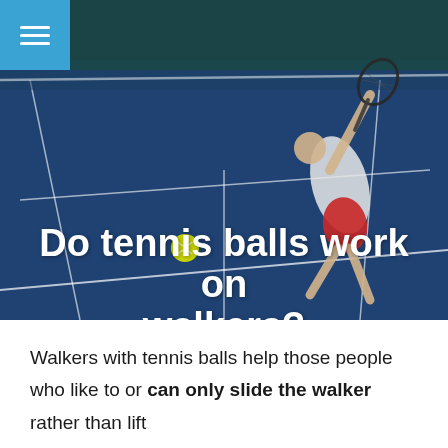[Figure (photo): Aerial view of a tennis court with a player in white shirt and red shorts reaching to hit a ball with a racket. The court is blue with white lines. A tennis ball is visible in the lower left area of the image.]
Do tennis balls work on walkers?
Last Updated: March 31, 2022 by Racket Source Editor
Walkers with tennis balls help those people who like to or can only slide the walker rather than lift